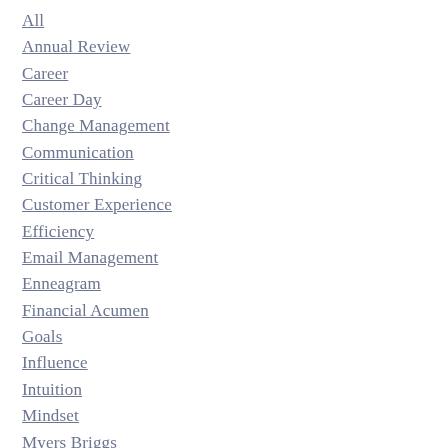All
Annual Review
Career
Career Day
Change Management
Communication
Critical Thinking
Customer Experience
Efficiency
Email Management
Enneagram
Financial Acumen
Goals
Influence
Intuition
Mindset
Myers Briggs
Networking
North Star List